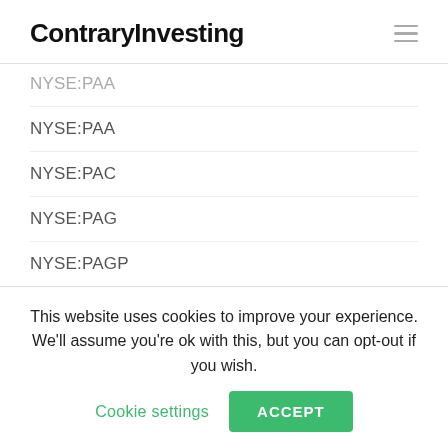ContraryInvesting
NYSE:PAA
NYSE:PAC
NYSE:PAG
NYSE:PAGP
NYSE:PBA
NYSE:PBI
NYSE:PBP
NYSE:PCEF
This website uses cookies to improve your experience. We'll assume you're ok with this, but you can opt-out if you wish. Cookie settings ACCEPT